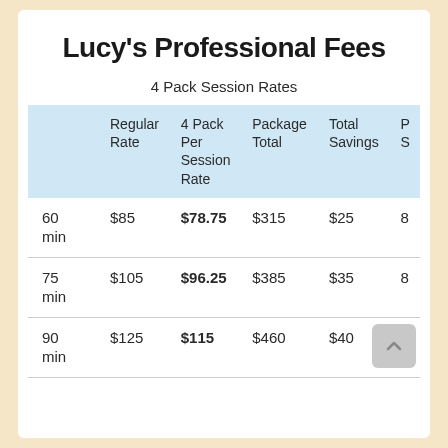Lucy's Professional Fees
4 Pack Session Rates
|  | Regular Rate | 4 Pack Per Session Rate | Package Total | Total Savings | P S |
| --- | --- | --- | --- | --- | --- |
| 60 min | $85 | $78.75 | $315 | $25 | 8 |
| 75 min | $105 | $96.25 | $385 | $35 | 8 |
| 90 min | $125 | $115 | $460 | $40 | 8 |